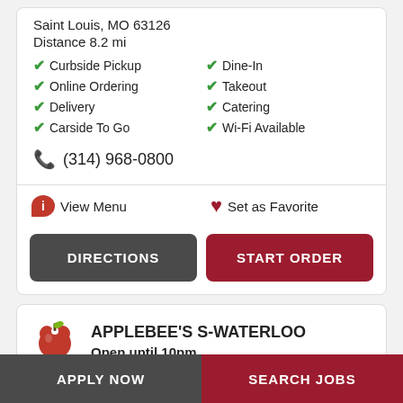Saint Louis, MO 63126
Distance 8.2 mi
✔ Curbside Pickup
✔ Dine-In
✔ Online Ordering
✔ Takeout
✔ Delivery
✔ Catering
✔ Carside To Go
✔ Wi-Fi Available
(314) 968-0800
View Menu
Set as Favorite
DIRECTIONS
START ORDER
APPLEBEE'S S-WATERLOO
Open until 10pm
923 N Illinois Rt. 3
Waterloo, IL 62298
APPLY NOW
SEARCH JOBS